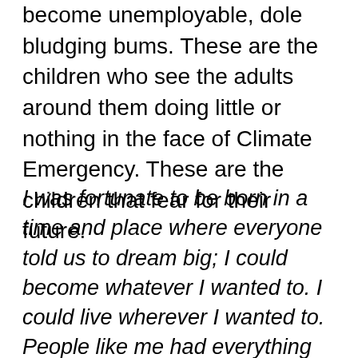become unemployable, dole bludging bums. These are the children who see the adults around them doing little or nothing in the face of Climate Emergency. These are the children that fear for their future.
I was fortunate to be born in a time and place where everyone told us to dream big; I could become whatever I wanted to. I could live wherever I wanted to. People like me had everything we needed and more. Things our grandparents could not even dream of. We had everything we could ever wish for and yet now we may